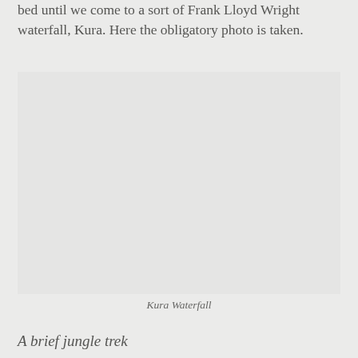bed until we come to a sort of Frank Lloyd Wright waterfall, Kura. Here the obligatory photo is taken.
[Figure (photo): Photograph of Kura Waterfall, a natural waterfall in a jungle/forest setting]
Kura Waterfall
A brief jungle trek